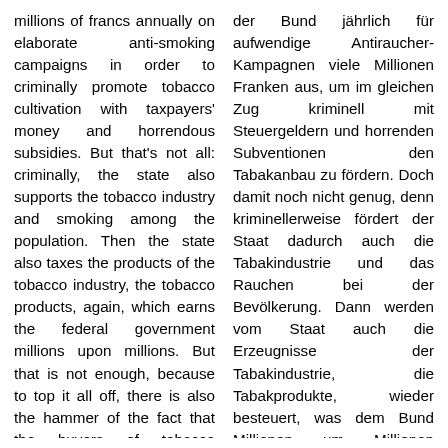millions of francs annually on elaborate anti-smoking campaigns in order to criminally promote tobacco cultivation with taxpayers' money and horrendous subsidies. But that's not all: criminally, the state also supports the tobacco industry and smoking among the population. Then the state also taxes the products of the tobacco industry, the tobacco products, again, which earns the federal government millions upon millions. But that is not enough, because to top it all off, there is also the hammer of the fact that the buyers of tobacco products are still being ripped off with VAT,
der Bund jährlich für aufwendige Antiraucher-Kampagnen viele Millionen Franken aus, um im gleichen Zug kriminell mit Steuergeldern und horrenden Subventionen den Tabakanbau zu fördern. Doch damit noch nicht genug, denn kriminellerweise fördert der Staat dadurch auch die Tabakindustrie und das Rauchen bei der Bevölkerung. Dann werden vom Staat auch die Erzeugnisse der Tabakindustrie, die Tabakprodukte, wieder besteuert, was dem Bund Millionen um Millionen einträgt. Doch auch damit ist noch nicht genug, denn zum